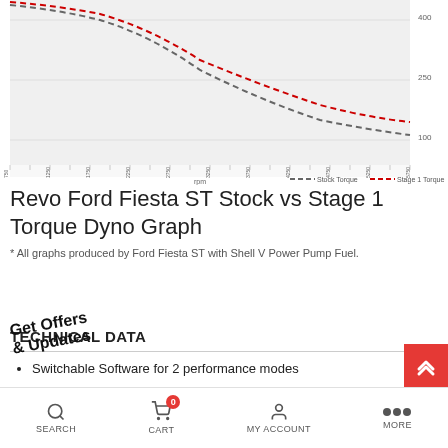[Figure (continuous-plot): Torque dyno graph showing Stock Torque (dashed gray) vs Stage 1 Torque (dashed red) curves across RPM range. X-axis shows RPM values from approximately 750 to 6500. Y-axis shows torque values. Two legend entries at bottom: Stock Torque and Stage 1 Torque.]
Revo Ford Fiesta ST Stock vs Stage 1 Torque Dyno Graph
* All graphs produced by Ford Fiesta ST with Shell V Power Pump Fuel.
TECHNICAL DATA
Switchable Software for 2 performance modes
Anti-theft mode
Available for Euro 5 and Euro 6 emissions models
SEARCH   CART   MY ACCOUNT   MORE